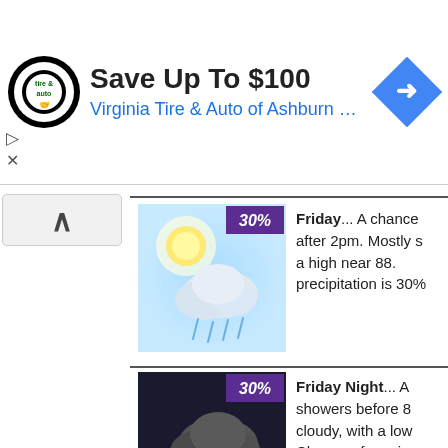[Figure (screenshot): Advertisement banner: Virginia Tire & Auto of Ashburn logo (circular black logo with green tire), text 'Save Up To $100' and 'Virginia Tire & Auto of Ashburn …', blue diamond arrow icon, ad controls (triangle and X)]
[Figure (illustration): Scroll-up chevron button]
[Figure (illustration): Weather icon for Friday: partly sunny with rain cloud, 30% badge]
Friday... A chance after 2pm. Mostly s a high near 88. precipitation is 30%
[Figure (illustration): Weather icon for Friday Night: dark cloud with rain, 30% badge]
Friday Night... A showers before 8 cloudy, with a low Chance of preci 30%.
[Figure (illustration): Weather icon for Saturday: cloud with lightning and rain, sun partially visible, 30% badge]
Saturday... A c showers and thu after 2pm. Mostly s a high near 85.